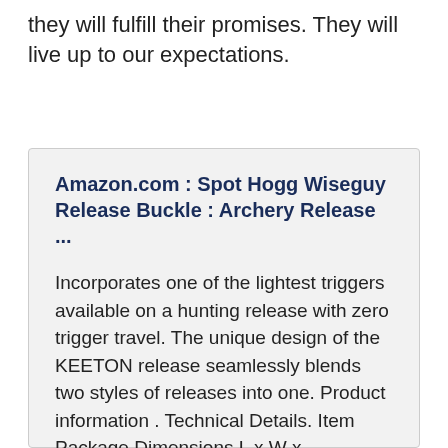they will fulfill their promises. They will live up to our expectations.
Amazon.com : Spot Hogg Wiseguy Release Buckle : Archery Release ...
Incorporates one of the lightest triggers available on a hunting release with zero trigger travel. The unique design of the KEETON release seamlessly blends two styles of releases into one. Product information . Technical Details. Item Package Dimensions L x W x ...